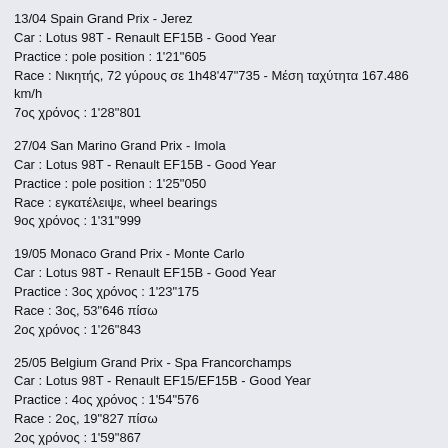13/04 Spain Grand Prix - Jerez
Car : Lotus 98T - Renault EF15B - Good Year
Practice : pole position : 1'21"605
Race : Νικητής, 72 γύρους σε 1h48'47"735 - Μέση ταχύτητα 167.486 km/h
7ος χρόνος : 1'28"801
27/04 San Marino Grand Prix - Imola
Car : Lotus 98T - Renault EF15B - Good Year
Practice : pole position : 1'25"050
Race : εγκατέλειψε, wheel bearings
9ος χρόνος : 1'31"999
19/05 Monaco Grand Prix - Monte Carlo
Car : Lotus 98T - Renault EF15B - Good Year
Practice : 3ος χρόνος : 1'23"175
Race : 3ος, 53"646 πίσω
2ος χρόνος : 1'26"843
25/05 Belgium Grand Prix - Spa Francorchamps
Car : Lotus 98T - Renault EF15/EF15B - Good Year
Practice : 4ος χρόνος : 1'54"576
Race : 2ος, 19"827 πίσω
2ος χρόνος : 1'59"867
15/06 Canada Grand Prix - Montreal
Car : Lotus 98T - Renault EF15/EF15B - Good Year
Practice : 2ος χρόνος : 1'24"188
Race : 5ος, 1 γύρο πίσω
5ος χρόνος : 1'27"479
22/06 U.S.A. Grand Prix - Detroit
Car : Lotus 98T - Renault EF15/EF15B - Good Year